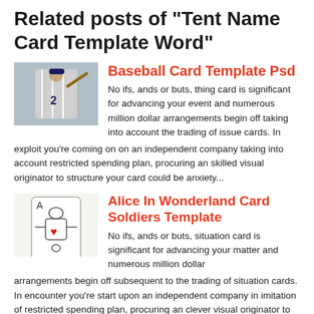Related posts of "Tent Name Card Template Word"
Baseball Card Template Psd
[Figure (photo): Baseball player in white pinstripe uniform swinging a bat]
No ifs, ands or buts, thing card is significant for advancing your event and numerous million dollar arrangements begin off taking into account the trading of issue cards. In exploit you're coming on on an independent company taking into account restricted spending plan, procuring an skilled visual originator to structure your card could be anxiety...
Alice In Wonderland Card Soldiers Template
[Figure (illustration): Alice in Wonderland card soldier playing card illustration with heart symbol]
No ifs, ands or buts, situation card is significant for advancing your matter and numerous million dollar arrangements begin off subsequent to the trading of situation cards. In encounter you're start upon an independent company in imitation of restricted spending plan, procuring an clever visual originator to structure your card could be anxiety in your...
Thank You Card For Teacher Template
[Figure (photo): Thank You card for teacher template thumbnail]